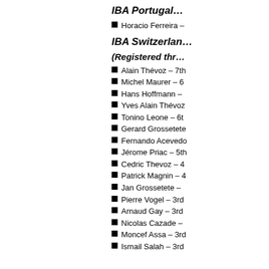IBA Portugal…
Horacio Ferreira –
IBA Switzerland…
(Registered thr…
Alain Thévoz – 7th
Michel Maurer – 6
Hans Hoffmann –
Yves Alain Thévoz
Tonino Leone – 6t
Gerard Grossetete
Fernando Acevedo
Jérome Priac – 5th
Cedric Thevoz – 4
Patrick Magnin – 4
Jan Grossetete –
Pierre Vogel – 3rd
Arnaud Gay – 3rd
Nicolas Cazade –
Moncef Assa – 3rd
Ismail Salah – 3rd